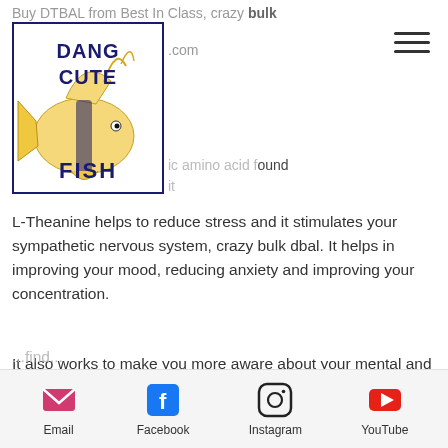Buy DTBAL from Best In Class, crazy bulk d...com
[Figure (logo): Dang Cute Fish logo with yellow/orange tropical fish illustration and text DANG CUTE FISH in dark navy blue]
L- ...ic amino acid found it...
L-Theanine helps to reduce stress and it stimulates your sympathetic nervous system, crazy bulk dbal. It helps in improving your mood, reducing anxiety and improving your concentration.
It also works to make you more aware about your mental and physical well being, crazy bulk dbal before and after3.
Email  Facebook  Instagram  YouTube